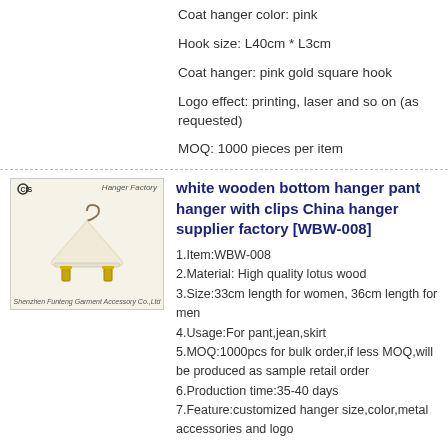Coat hanger color: pink
Hook size: L40cm * L3cm
Coat hanger: pink gold square hook
Logo effect: printing, laser and so on (as requested)
MOQ: 1000 pieces per item
[Figure (photo): White wooden bottom hanger pant hanger with gold clips, shown against light background, with Hanger Factory branding]
white wooden bottom hanger pant hanger with clips China hanger supplier factory [WBW-008]
1.Item:WBW-008
2.Material: High quality lotus wood
3.Size:33cm length for women, 36cm length for men
4.Usage:For pant,jean,skirt
5.MOQ:1000pcs for bulk order,if less MOQ,will be produced as sample retail order
6.Production time:35-40 days
7.Feature:customized hanger size,color,metal accessories and logo
[Figure (photo): White wood skirt hanger product image with Hanger Factory branding]
WBW-004 Custom white wood skirt hanger